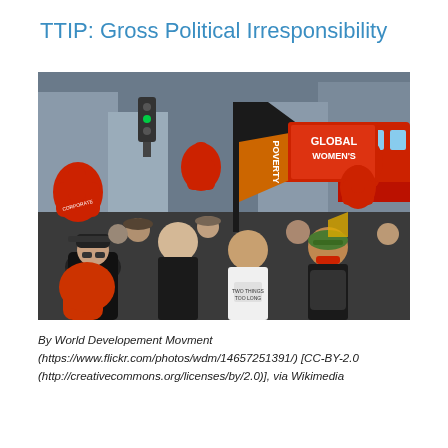TTIP: Gross Political Irresponsibility
[Figure (photo): Crowd of protesters holding red foam number-one fingers/gloves and banners including a flag reading 'POVERTY' and a sign reading 'GLOBAL WOMEN'S' (partially visible). People march in an urban street; a red double-decker bus is visible in the background.]
By World Developement Movment (https://www.flickr.com/photos/wdm/14657251391/) [CC-BY-2.0 (http://creativecommons.org/licenses/by/2.0)], via Wikimedia